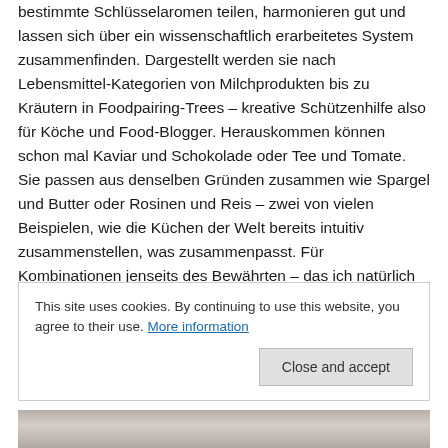bestimmte Schlüsselaromen teilen, harmonieren gut und lassen sich über ein wissenschaftlich erarbeitetes System zusammenfinden. Dargestellt werden sie nach Lebensmittel-Kategorien von Milchprodukten bis zu Kräutern in Foodpairing-Trees – kreative Schützenhilfe also für Köche und Food-Blogger. Herauskommen können schon mal Kaviar und Schokolade oder Tee und Tomate. Sie passen aus denselben Gründen zusammen wie Spargel und Butter oder Rosinen und Reis – zwei von vielen Beispielen, wie die Küchen der Welt bereits intuitiv zusammenstellen, was zusammenpasst. Für Kombinationen jenseits des Bewährten – das ich natürlich auch schätze – bin ich stets zu haben und schielte bereits neugierig auf die Warenkörbe.
This site uses cookies. By continuing to use this website, you agree to their use. More information
[Figure (photo): Bottom strip showing a partial photo, appears to be hands or food-related image]